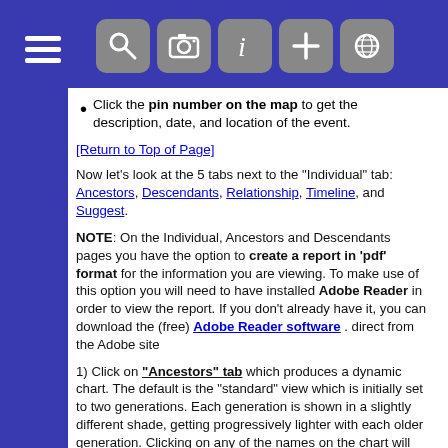[Figure (screenshot): Navigation header bar with hamburger menu icon and 5 icon buttons (search, camera, info, plus, globe) on dark blue background]
Click the pin number on the map to get the description, date, and location of the event.
[Return to Top of Page]
Now let's look at the 5 tabs next to the "Individual" tab: Ancestors, Descendants, Relationship, Timeline, and Suggest.
NOTE: On the Individual, Ancestors and Descendants pages you have the option to create a report in 'pdf' format for the information you are viewing. To make use of this option you will need to have installed Adobe Reader in order to view the report. If you don't already have it, you can download the (free) Adobe Reader software . direct from the Adobe site
1) Click on "Ancestors" tab which produces a dynamic chart. The default is the "standard" view which is initially set to two generations. Each generation is shown in a slightly different shade, getting progressively lighter with each older generation. Clicking on any of the names on the chart will take you to the individual sheet for that person.
[Figure (screenshot): Screenshot of the Ancestors tab interface showing navigation tabs and chart area]